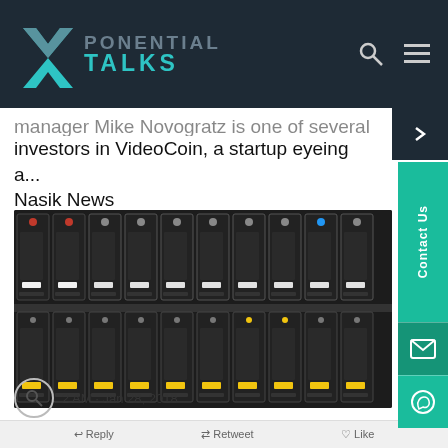XPONENTIAL TALKS
manager Mike Novogratz is one of several investors in VideoCoin, a startup eyeing a... Nasik News
[Figure (photo): Rows of server hard drives mounted in a rack, showing two shelves of black drives with colored labels (red, yellow, white) on a dark background.]
2 AM · Jan 28, 2018